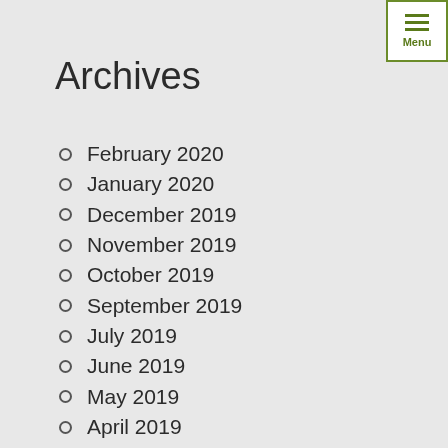Archives
February 2020
January 2020
December 2019
November 2019
October 2019
September 2019
July 2019
June 2019
May 2019
April 2019
March 2019
February 2019
January 2019
November 2018
October 2018
September 2018
August 2018